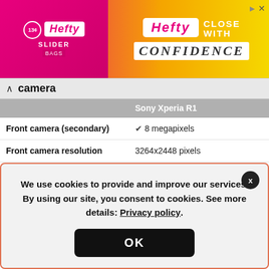[Figure (other): Hefty Slider Bags advertisement banner with pink, orange and yellow gradient background. Shows Hefty logo, 'SLIDER' branding, and text 'CLOSE WITH CONFIDENCE']
camera
|  | Sony Xperia R1 |
| --- | --- |
| Front camera (secondary) | ✔ 8 megapixels |
| Front camera resolution | 3264x2448 pixels |
| Video recording (secondary) | ✔ HD (1280x720) |
| Front flash | ✘ Not supported |
| Focal aperture | feature not registered |
We use cookies to provide and improve our services. By using our site, you consent to cookies. See more details: Privacy policy.
OK